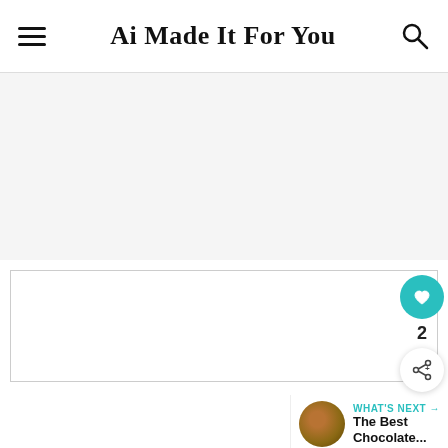Ai Made It For You
[Figure (screenshot): Gray placeholder content area]
[Figure (screenshot): White content box with side like button showing count of 2, share button, and What's Next panel showing The Best Chocolate... article thumbnail]
[Figure (screenshot): Advertisement banner with red border showing a video ad with play button and WW logo]